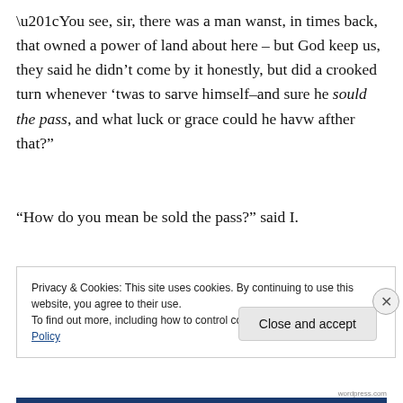“You see, sir, there was a man wanst, in times back, that owned a power of land about here – but God keep us, they said he didn’t come by it honestly, but did a crooked turn whenever ’twas to sarve himself–and sure he sould the pass, and what luck or grace could he havw afther that?”
“How do you mean be sold the pass?” said I.
Privacy & Cookies: This site uses cookies. By continuing to use this website, you agree to their use.
To find out more, including how to control cookies, see here: Cookie Policy